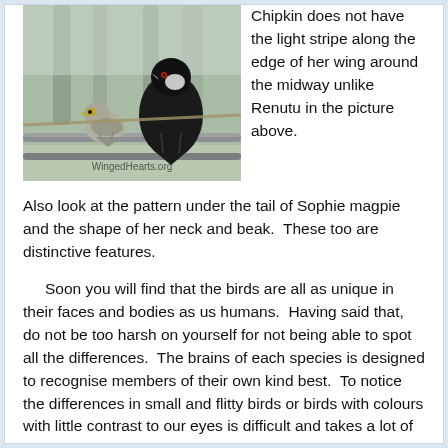[Figure (photo): Two birds perched on a metal rod/pipe. A large black Australian Magpie stands behind a smaller grey bird (possibly a Noisy Miner or similar). Blurred trees in the background. Watermark reads 'WingedHearts.org'.]
Chipkin does not have the light stripe along the edge of her wing around the midway unlike Renutu in the picture above.
Also look at the pattern under the tail of Sophie magpie and the shape of her neck and beak.  These too are distinctive features.
Soon you will find that the birds are all as unique in their faces and bodies as us humans.  Having said that, do not be too harsh on yourself for not being able to spot all the differences.  The brains of each species is designed to recognise members of their own kind best.  To notice the differences in small and flitty birds or birds with colours with little contrast to our eyes is difficult and takes a lot of practice.
Tomorrow I will tell you of some more ways that help